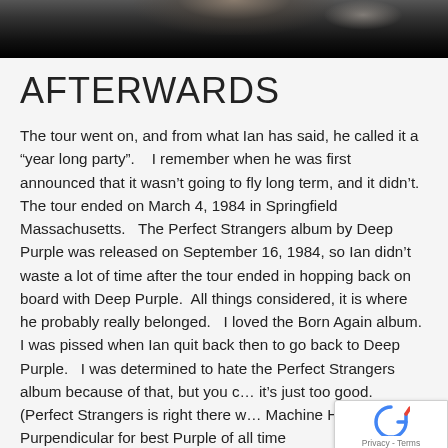[Figure (photo): Dark photo strip at the top of the page, showing a partially visible person against a dark background]
AFTERWARDS
The tour went on, and from what Ian has said, he called it a “year long party”.   I remember when he was first announced that it wasn’t going to fly long term, and it didn’t.  The tour ended on March 4, 1984 in Springfield Massachusetts.   The Perfect Strangers album by Deep Purple was released on September 16, 1984, so Ian didn’t waste a lot of time after the tour ended in hopping back on board with Deep Purple.  All things considered, it is where he probably really belonged.   I loved the Born Again album.  I was pissed when Ian quit back then to go back to Deep Purple.   I was determined to hate the Perfect Strangers album because of that, but you c… it’s just too good.  (Perfect Strangers is right there w… Machine Head & Purpendicular for best Purple of all time